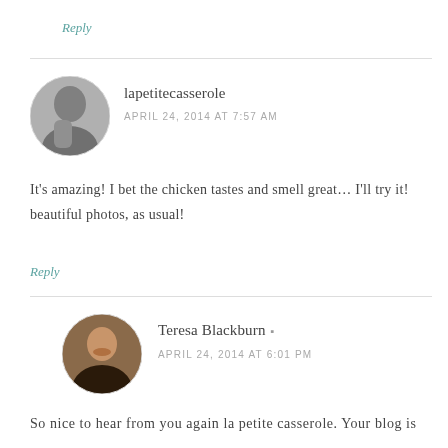Reply
[Figure (photo): Circular avatar photo of lapetitecasserole, black and white portrait of a woman]
lapetitecasserole
APRIL 24, 2014 AT 7:57 AM
It’s amazing! I bet the chicken tastes and smell great… I’ll try it! beautiful photos, as usual!
Reply
[Figure (photo): Circular avatar photo of Teresa Blackburn, color portrait of a woman smiling]
Teresa Blackburn
APRIL 24, 2014 AT 6:01 PM
So nice to hear from you again la petite casserole. Your blog is